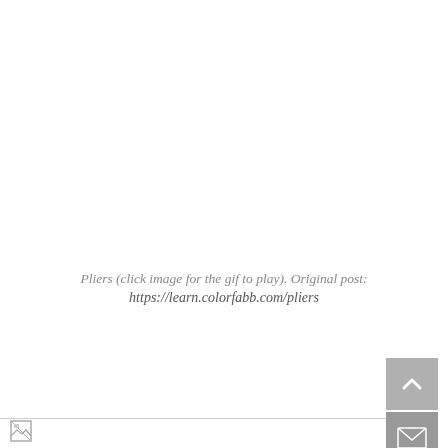Pliers (click image for the gif to play). Original post: https://learn.colorfabb.com/pliers
[Figure (other): Scroll-to-top button (gray square with upward chevron arrow)]
[Figure (other): Broken image icon placeholder at bottom left]
[Figure (other): Email/envelope button (gray square with envelope icon)]